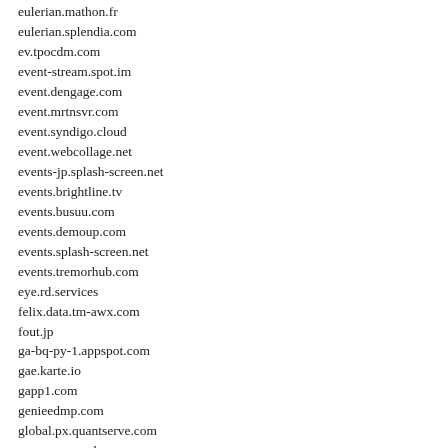eulerian.mathon.fr
eulerian.splendia.com
ev.tpocdm.com
event-stream.spot.im
event.dengage.com
event.mrtnsvr.com
event.syndigo.cloud
event.webcollage.net
events-jp.splash-screen.net
events.brightline.tv
events.busuu.com
events.demoup.com
events.splash-screen.net
events.tremorhub.com
eye.rd.services
felix.data.tm-awx.com
fout.jp
ga-bq-py-1.appspot.com
gae.karte.io
gapp1.com
genieedmp.com
global.px.quantserve.com
gnar.grammarly.com
goo-access-analytics.appspot.com
gs.mountain.com